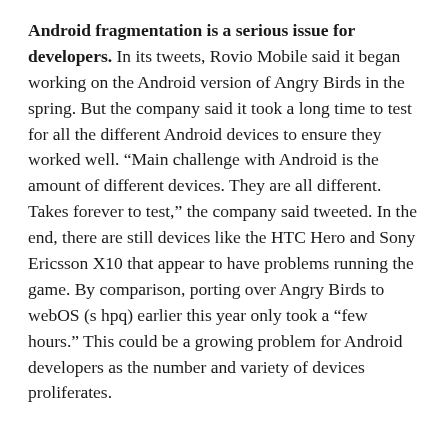Android fragmentation is a serious issue for developers. In its tweets, Rovio Mobile said it began working on the Android version of Angry Birds in the spring. But the company said it took a long time to test for all the different Android devices to ensure they worked well. “Main challenge with Android is the amount of different devices. They are all different. Takes forever to test,” the company said tweeted. In the end, there are still devices like the HTC Hero and Sony Ericsson X10 that appear to have problems running the game. By comparison, porting over Angry Birds to webOS (s hpq) earlier this year only took a “few hours.” This could be a growing problem for Android developers as the number and variety of devices proliferates.
Related research from GigaOM Pro (subscription